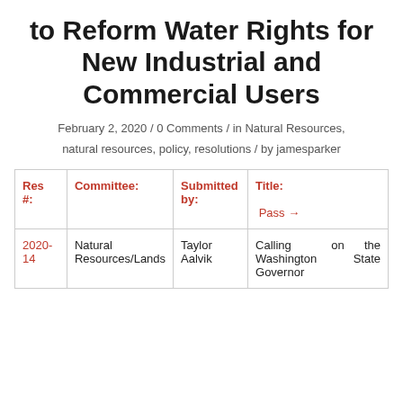to Reform Water Rights for New Industrial and Commercial Users
February 2, 2020 / 0 Comments / in Natural Resources, natural resources, policy, resolutions / by jamesparker
| Res #: | Committee: | Submitted by: | Title:
Pass → |
| --- | --- | --- | --- |
| 2020-14 | Natural Resources/Lands | Taylor Aalvik | Calling on the Washington State Governor |